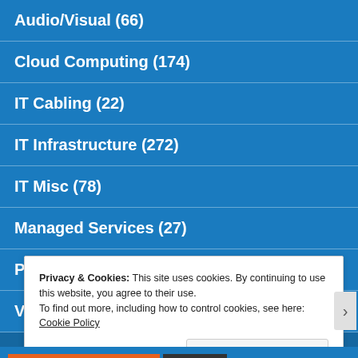Audio/Visual (66)
Cloud Computing (174)
IT Cabling (22)
IT Infrastructure (272)
IT Misc (78)
Managed Services (27)
Premise IT (10)
Voice (30)
Uncategorized (2)
Privacy & Cookies: This site uses cookies. By continuing to use this website, you agree to their use. To find out more, including how to control cookies, see here: Cookie Policy
Close and accept